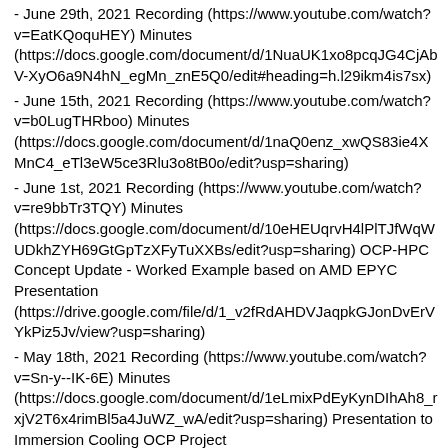- June 29th, 2021 Recording (https://www.youtube.com/watch?v=EatKQoquHEY) Minutes (https://docs.google.com/document/d/1NuaUK1xo8pcqJG4CjAbV-XyO6a9N4hN_egMn_znE5Q0/edit#heading=h.l29ikm4is7sx)
- June 15th, 2021 Recording (https://www.youtube.com/watch?v=b0LugTHRboo) Minutes (https://docs.google.com/document/d/1naQ0enz_xwQS83ie4XMnC4_eTl3eW5ce3Rlu3o8tB0o/edit?usp=sharing)
- June 1st, 2021 Recording (https://www.youtube.com/watch?v=re9bbTr3TQY) Minutes (https://docs.google.com/document/d/10eHEUqrvH4lPlTJfWqWUDkhZYH69GtGpTzXFyTuXXBs/edit?usp=sharing) OCP-HPC Concept Update - Worked Example based on AMD EPYC Presentation (https://drive.google.com/file/d/1_v2fRdAHDVJaqpkGJonDvErVYkPiz5Jv/view?usp=sharing)
- May 18th, 2021 Recording (https://www.youtube.com/watch?v=Sn-y--IK-6E) Minutes (https://docs.google.com/document/d/1eLmixPdEyKynDIhAh8_rxjV2T6x4rimBl5a4JuWZ_wA/edit?usp=sharing) Presentation to Immersion Cooling OCP Project (https://drive.google.com/file/d/12s22r400tpQikGIycQmtfo9rdUb8eW8_/view?usp=sharing)
- May 4th, 2021 Recording (https://www.youtube.com/watch?v=wL7lchfyUL8) Minutes (https://docs.google.com/document/d/1kZinmHgqd4ETd_5DWwm4czCY7lZQ5H6K9_4OyAa1NgY/edit?usp=sharing) SC21 Panel Submission Detailed Description (https://docs.google.com/document/d/18zaVB-Nd